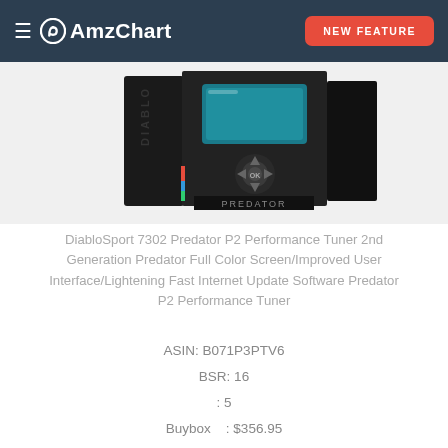≡ AmzChart  NEW FEATURE
[Figure (photo): Product photo of DiabloSport Predator P2 performance tuner device in its packaging box, showing the device with a color screen and directional buttons, labeled PREDATOR]
DiabloSport 7302 Predator P2 Performance Tuner 2nd Generation Predator Full Color Screen/Improved User Interface/Lightening Fast Internet Update Software Predator P2 Performance Tuner
ASIN: B071P3PTV6
BSR: 16
: 5
Buybox    : $356.95
Buybox    : southerncarparts
: FBA